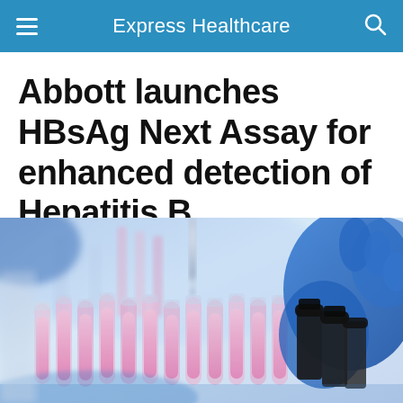Express Healthcare
Abbott launches HBsAg Next Assay for enhanced detection of Hepatitis B
[Figure (photo): Laboratory photo showing a scientist in blue gloves using a pipette dropper over rows of glass test tubes and vials containing pink/red liquid, with dark-capped sample bottles on the right.]